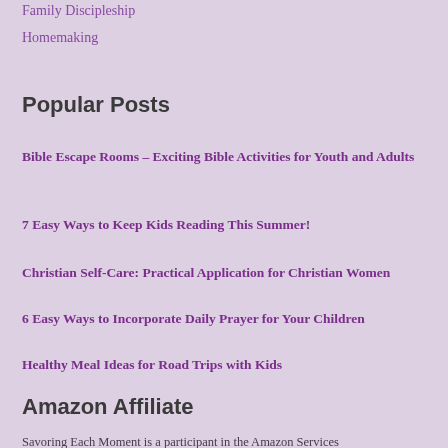Family Discipleship
Homemaking
Popular Posts
Bible Escape Rooms – Exciting Bible Activities for Youth and Adults
7 Easy Ways to Keep Kids Reading This Summer!
Christian Self-Care: Practical Application for Christian Women
6 Easy Ways to Incorporate Daily Prayer for Your Children
Healthy Meal Ideas for Road Trips with Kids
Amazon Affiliate
Savoring Each Moment is a participant in the Amazon Services